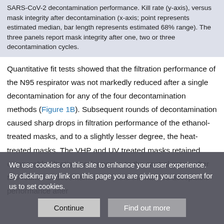SARS-CoV-2 decontamination performance. Kill rate (y-axis), versus mask integrity after decontamination (x-axis; point represents estimated median, bar length represents estimated 68% range). The three panels report mask integrity after one, two or three decontamination cycles.
Quantitative fit tests showed that the filtration performance of the N95 respirator was not markedly reduced after a single decontamination for any of the four decontamination methods (Figure 1B). Subsequent rounds of decontamination caused sharp drops in filtration performance of the ethanol-treated masks, and to a slightly lesser degree, the heat-treated masks. The VHP and UV treated masks retained comparable filtration performance to the control group after two rounds of decontamination, and maintained acceptable performance after
We use cookies on this site to enhance your user experience. By clicking any link on this page you are giving your consent for us to set cookies.